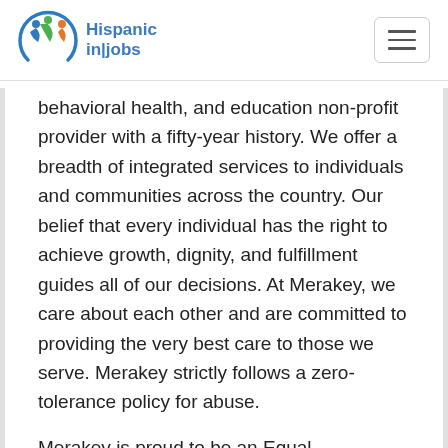[Figure (logo): Hispanic in|jobs logo with circular icon of figures and blue text reading 'Hispanic in|jobs']
behavioral health, and education non-profit provider with a fifty-year history. We offer a breadth of integrated services to individuals and communities across the country. Our belief that every individual has the right to achieve growth, dignity, and fulfillment guides all of our decisions. At Merakey, we care about each other and are committed to providing the very best care to those we serve. Merakey strictly follows a zero-tolerance policy for abuse.
Merakey is proud to be an Equal Opportunity Employer! We deeply value diversity and do not discriminate on the